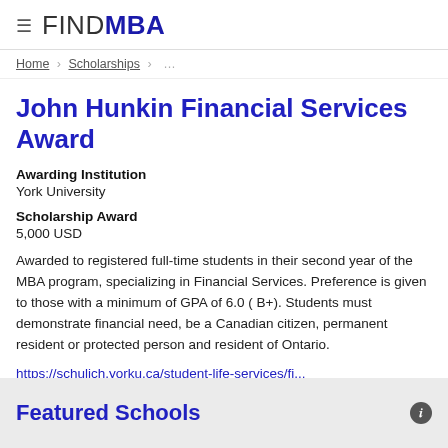≡ FINDMBA
Home › Scholarships › ...
John Hunkin Financial Services Award
Awarding Institution
York University
Scholarship Award
5,000 USD
Awarded to registered full-time students in their second year of the MBA program, specializing in Financial Services. Preference is given to those with a minimum of GPA of 6.0 ( B+). Students must demonstrate financial need, be a Canadian citizen, permanent resident or protected person and resident of Ontario.
https://schulich.yorku.ca/student-life-services/fi...
Featured Schools